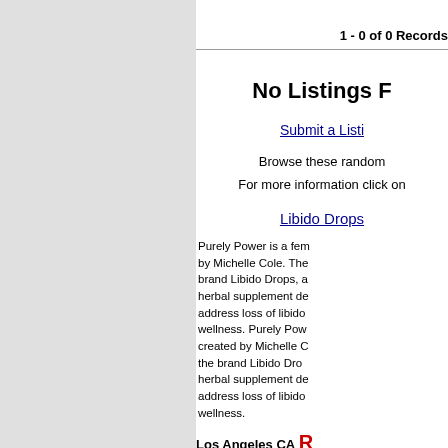1 - 0 of 0 Records
No Listings F
Submit a Listi
Browse these random
For more information click on
Libido Drops
Purely Power is a fem by Michelle Cole. The brand Libido Drops, a herbal supplement de address loss of libido wellness. Purely Pow created by Michelle C the brand Libido Dro herbal supplement de address loss of libido wellness.
Los Angeles CA R